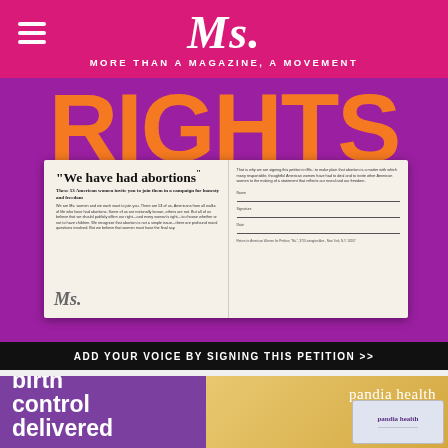Ms. — MORE THAN A MAGAZINE, A MOVEMENT
[Figure (photo): Ms. Magazine webpage screenshot showing large purple background with orange RIGHTS text, open magazine spread with 'We have had abortions' headline, petition bar, and Pandia Health birth control ad]
ADD YOUR VOICE BY SIGNING THIS PETITION >>
birth control delivered
pandia health